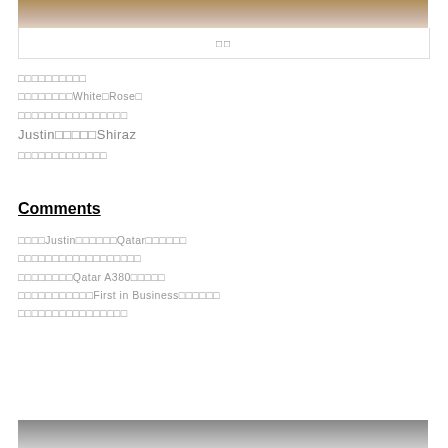[Figure (photo): Top portion of a photograph, partially visible at top of page]
□□
□□□□□□□□□□
□□□□□□□□White□Rose□
□□□□□□□□□□□□□□□□
Justin□□□□□Shiraz
□□□□□□□□□□□□□
Comments
□□□□Justin□□□□□□Qatar□□□□□□
□□□□□□□□□□□□□□□□□□
□□□□□□□□Qatar A380□□□□□
□□□□□□□□□□□First in Business□□□□□□
□□□□□□□□□□□□□□□□
[Figure (photo): Bottom photograph partially visible at bottom of page]